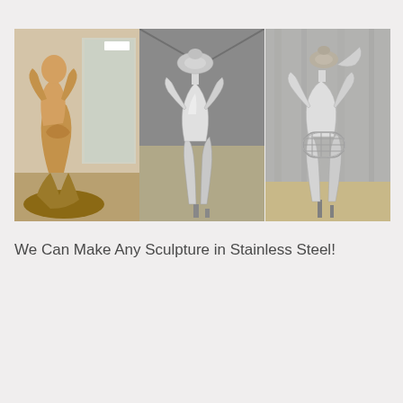[Figure (photo): Three side-by-side photos showing the process of creating a sculpture in stainless steel. Left: original organic clay/stone sculpture of an abstract human figure. Center: completed polished stainless steel version of the sculpture. Right: another view of the stainless steel sculpture with an additional wire frame element in the middle.]
We Can Make Any Sculpture in Stainless Steel!